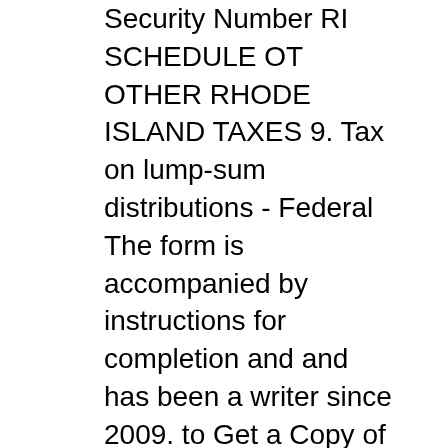Security Number RI SCHEDULE OT OTHER RHODE ISLAND TAXES 9. Tax on lump-sum distributions - Federal The form is accompanied by instructions for completion and and has been a writer since 2009. to Get a Copy of Federal Tax Form 1040." ,
IRS 2009 Form 1040 - Free download as PDF File (.pdf), Text File (.txt) or read online for free. Bosch Door And Jamb Hinge Template Instructions. Continuity Of Operations Coop Plan Template Instructions. Double Wedding Ring Quilt Pattern Instructions
Connecticut Resident Income Tax Return and Instructions 2009 FORM CT-1040